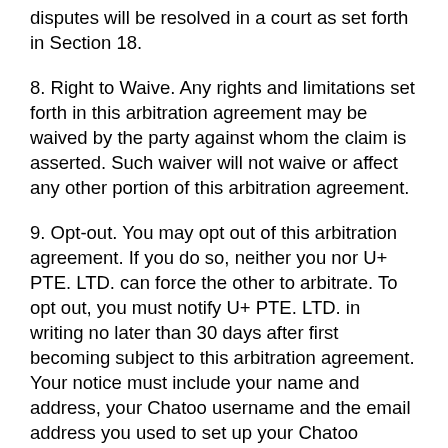disputes will be resolved in a court as set forth in Section 18.
8. Right to Waive. Any rights and limitations set forth in this arbitration agreement may be waived by the party against whom the claim is asserted. Such waiver will not waive or affect any other portion of this arbitration agreement.
9. Opt-out. You may opt out of this arbitration agreement. If you do so, neither you nor U+ PTE. LTD. can force the other to arbitrate. To opt out, you must notify U+ PTE. LTD. in writing no later than 30 days after first becoming subject to this arbitration agreement. Your notice must include your name and address, your Chatoo username and the email address you used to set up your Chatoo account (if you have one), and an unequivocal statement that you want to opt out of this arbitration agreement. You must either mail your opt-out notice to this address: U+ PTE. LTD., ATTN: Arbitration Opt-out, 20 MAXWELL ROAD #11-07/08 MAXWELL